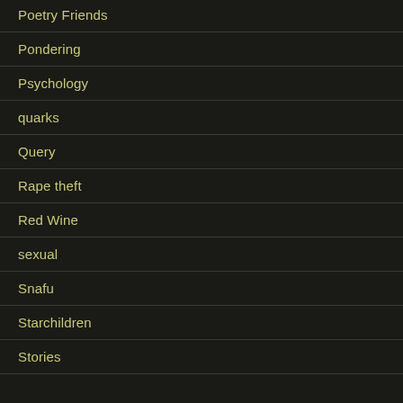Poetry Friends
Pondering
Psychology
quarks
Query
Rape theft
Red Wine
sexual
Snafu
Starchildren
Stories